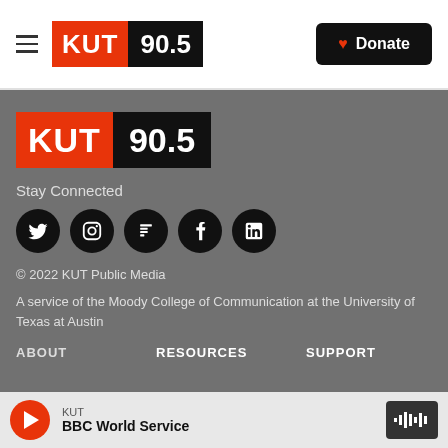KUT 90.5 — Donate
[Figure (logo): KUT 90.5 radio station logo in footer: red block with KUT, black block with 90.5]
Stay Connected
[Figure (infographic): Five social media icons in black circles: Twitter, Instagram, Flipboard, Facebook, LinkedIn]
© 2022 KUT Public Media
A service of the Moody College of Communication at the University of Texas at Austin
ABOUT
RESOURCES
SUPPORT
KUT
BBC World Service